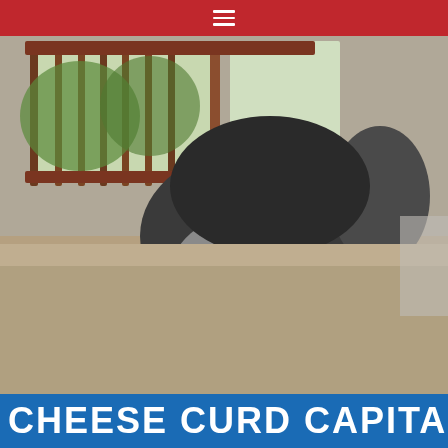≡
[Figure (photo): A miniature schnauzer dog with black and grey wiry fur resting its chin and paws on the edge of a tan/beige carpet surface, looking directly at the camera with dark eyes. Wooden stair railings and windows visible in the background.]
[Figure (photo): Partial view of a blue sign with large white bold text reading 'CHEESE CURD CAPITAL']